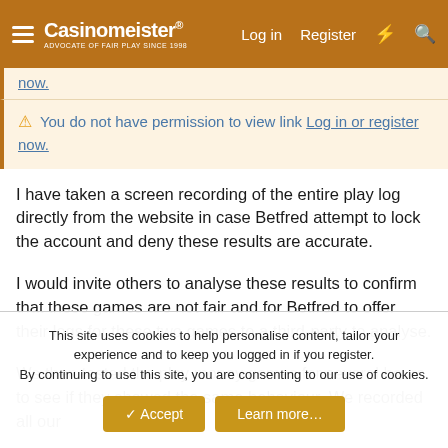Casinomeister® | Log in | Register
now.
⚠ You do not have permission to view link Log in or register now.
I have taken a screen recording of the entire play log directly from the website in case Betfred attempt to lock the account and deny these results are accurate.
I would invite others to analyse these results to confirm that these games are not fair and for Betfred to offer their logs for these two games to a third-party to analyse.
We then tested the play money games for several hours to see if they showed the same behaviour. We recorded all our
This site uses cookies to help personalise content, tailor your experience and to keep you logged in if you register. By continuing to use this site, you are consenting to our use of cookies.